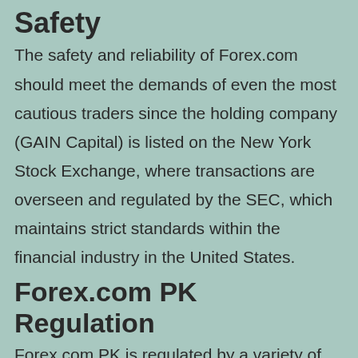Safety
The safety and reliability of Forex.com should meet the demands of even the most cautious traders since the holding company (GAIN Capital) is listed on the New York Stock Exchange, where transactions are overseen and regulated by the SEC, which maintains strict standards within the financial industry in the United States.
Forex.com PK Regulation
Forex.com PK is regulated by a variety of other international agencies that also require strict compliance with rules and regulations in place